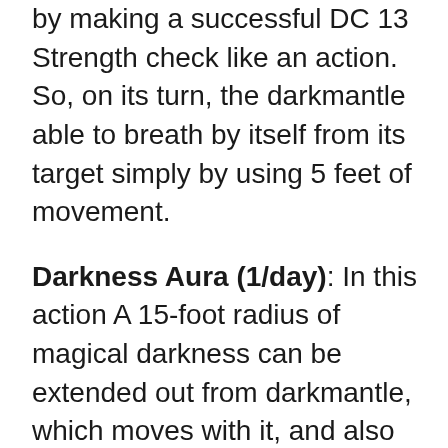by making a successful DC 13 Strength check like an action. So, on its turn, the darkmantle able to breath by itself from its target simply by using 5 feet of movement.
Darkness Aura (1/day): In this action A 15-foot radius of magical darkness can be extended out from darkmantle, which moves with it, and also can be spread around the corners. As per this action, the darkness could be last as long as the darkmantle can be maintain its Concentration almost up to 10 minutes (as if concentrating on a spell).
Actually, the darkvision unable to